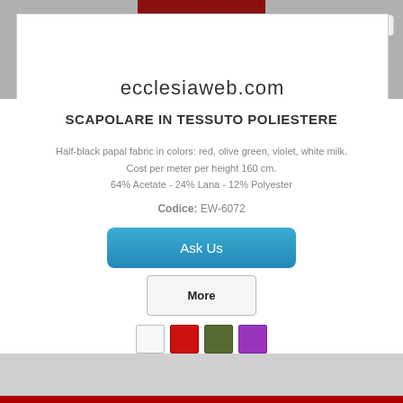[Figure (photo): Dark red/burgundy textile fabric swatch at top center of page]
ecclesiaweb.com
SCAPOLARE IN TESSUTO POLIESTERE
Half-black papal fabric in colors: red, olive green, violet, white milk. Cost per meter per height 160 cm. 64% Acetate - 24% Lana - 12% Polyester
Codice: EW-6072
[Figure (other): Blue 'Ask Us' button]
[Figure (other): Grey 'More' button]
[Figure (other): Four color swatches: white, red, olive green, purple]